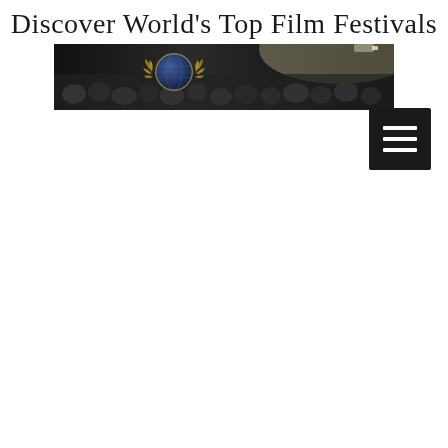Discover World's Top Film Festivals
[Figure (photo): Wide panoramic banner photo of a large film festival audience in a dark venue with bright projection light, overlaid with a globe and laurel wreath logo in the center top area.]
[Figure (other): Black square hamburger menu button icon with three white horizontal lines]